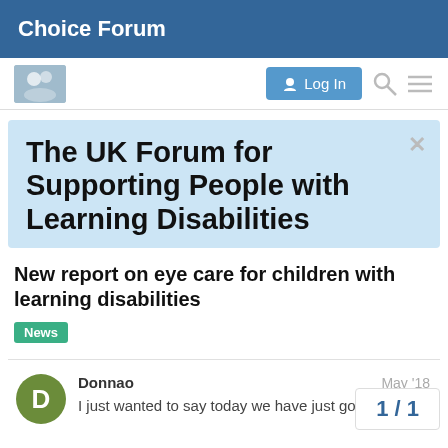Choice Forum
[Figure (screenshot): Navigation bar with logo image, Log In button, search icon, and hamburger menu icon]
The UK Forum for Supporting People with Learning Disabilities
New report on eye care for children with learning disabilities
News
Donnao
May '18
I just wanted to say today we have just got
1 / 1